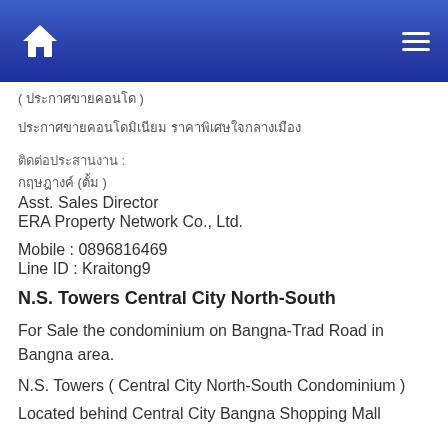Home | Menu
( ประกาศขายคอนโด )
ประกาศขายคอนโดมิเนียม ราคาพิเศษใจกลางเมือง
ติดต่อประสานงาน :
กฤษฎางค์ (ตั้ม )
Asst. Sales Director
ERA Property Network Co., Ltd.
Mobile : 0896816469
Line ID : Kraitong9
N.S. Towers Central City North-South
For Sale the condominium on Bangna-Trad Road in Bangna area.
N.S. Towers ( Central City North-South Condominium )
Located behind Central City Bangna Shopping Mall